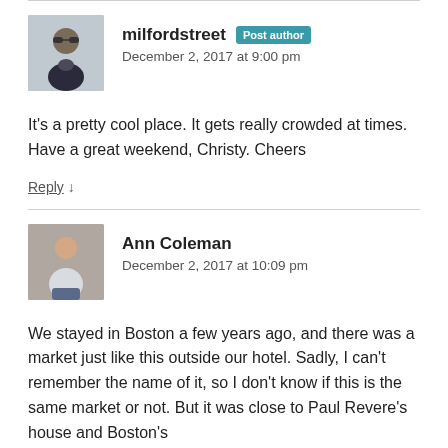[Figure (photo): Avatar photo of milfordstreet, a man with sunglasses]
milfordstreet Post author
December 2, 2017 at 9:00 pm
It's a pretty cool place. It gets really crowded at times. Have a great weekend, Christy. Cheers
Reply ↓
[Figure (photo): Avatar photo of Ann Coleman, a person in light clothing]
Ann Coleman
December 2, 2017 at 10:09 pm
We stayed in Boston a few years ago, and there was a market just like this outside our hotel. Sadly, I can't remember the name of it, so I don't know if this is the same market or not. But it was close to Paul Revere's house and Boston's